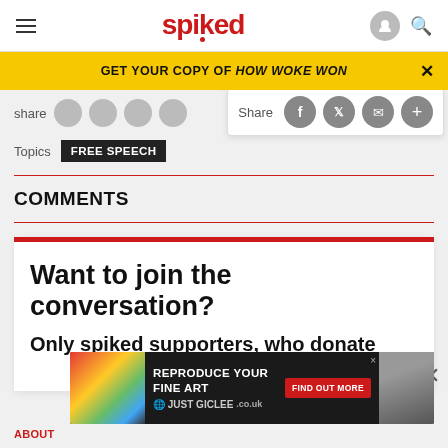spiked
GET YOUR COPY OF HOW WOKE WON
share
Share
Topics  FREE SPEECH
COMMENTS
Want to join the conversation?
Only spiked supporters, who donate regularly, can comment.
[Figure (screenshot): Advertisement banner: REPRODUCE YOUR FINE ART / JUST GICLEE with FIND OUT MORE button]
ABOUT